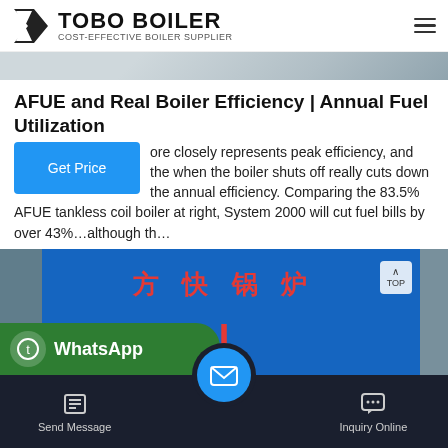TOBO BOILER — COST-EFFECTIVE BOILER SUPPLIER
[Figure (photo): Partial view of a boiler or industrial equipment, showing a metallic surface in grays and blues — top strip.]
AFUE and Real Boiler Efficiency | Annual Fuel Utilization
ore closely represents peak efficiency, and the when the boiler shuts off really cuts down the annual efficiency. Comparing the 83.5% AFUE tankless coil boiler at right, System 2000 will cut fuel bills by over 43%…although th…
[Figure (photo): Industrial boiler unit painted blue with red Chinese characters '方快锅炉' and a red letter 'I' symbol on the front panel. Left side has gray pipe/duct, right side has gray trim.]